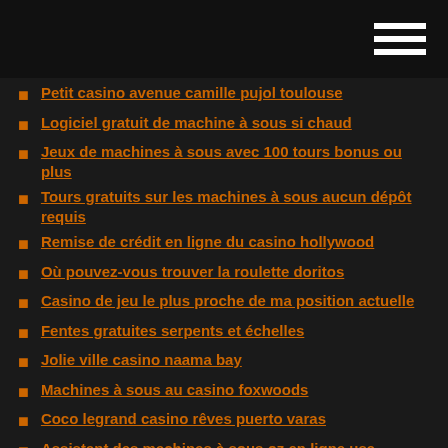Petit casino avenue camille pujol toulouse
Logiciel gratuit de machine à sous si chaud
Jeux de machines à sous avec 100 tours bonus ou plus
Tours gratuits sur les machines à sous aucun dépôt requis
Remise de crédit en ligne du casino hollywood
Où pouvez-vous trouver la roulette doritos
Casino de jeu le plus proche de ma position actuelle
Fentes gratuites serpents et échelles
Jolie ville casino naama bay
Machines à sous au casino foxwoods
Coco legrand casino rêves puerto varas
Assistant des machines à sous oz en ligne usa